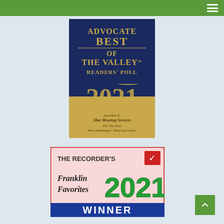[Figure (illustration): Advocate Best of The Valley Readers' Poll 2021 award plaque awarded to Alter Hearing Services for Best Audiologist / Hearing Center]
[Figure (illustration): The Recorder's Franklin Favorites 2021 Winner badge/logo]